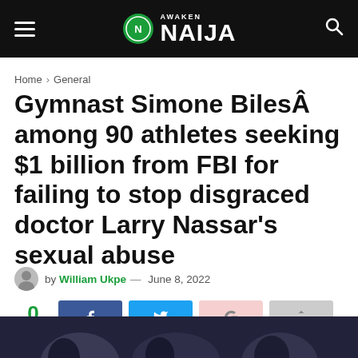Awaken Naija
Home > General
Gymnast Simone BilesÂ among 90 athletes seeking $1 billion from FBI for failing to stop disgraced doctor Larry Nassar’s sexual abuse
by William Ukpe — June 8, 2022
0 SHARES
[Figure (photo): Dark photo strip showing people seated, partially visible at bottom of page]